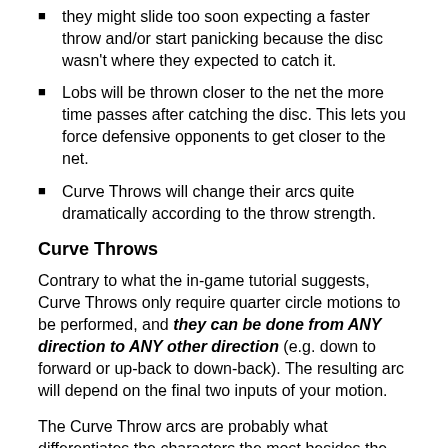they might slide too soon expecting a faster throw and/or start panicking because the disc wasn't where they expected to catch it.
Lobs will be thrown closer to the net the more time passes after catching the disc. This lets you force defensive opponents to get closer to the net.
Curve Throws will change their arcs quite dramatically according to the throw strength.
Curve Throws
Contrary to what the in-game tutorial suggests, Curve Throws only require quarter circle motions to be performed, and they can be done from ANY direction to ANY other direction (e.g. down to forward or up-back to down-back). The resulting arc will depend on the final two inputs of your motion.
The Curve Throw arcs are probably what differentiates the characters the most besides the movement speed and the Super Customs. Stronger/slower characters tend to throw at